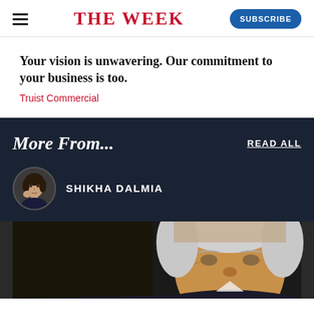THE WEEK
Your vision is unwavering. Our commitment to your business is too.
Truist Commercial
More From...
READ ALL
SHIKHA DALMIA
[Figure (photo): Partial view of an elderly man's face, cropped at bottom of page]